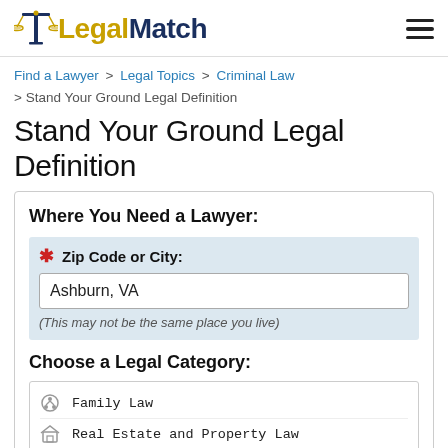LegalMatch
Find a Lawyer > Legal Topics > Criminal Law > Stand Your Ground Legal Definition
Stand Your Ground Legal Definition
Where You Need a Lawyer: * Zip Code or City: Ashburn, VA (This may not be the same place you live)
Choose a Legal Category: Family Law, Real Estate and Property Law, Criminal Law